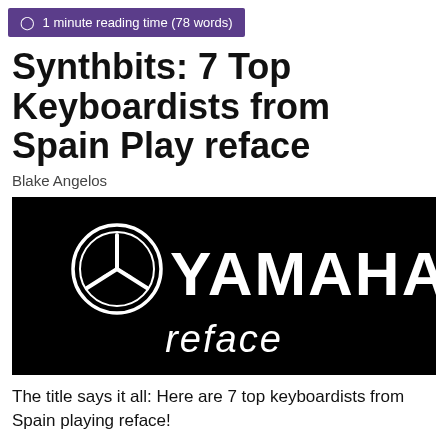1 minute reading time (78 words)
Synthbits: 7 Top Keyboardists from Spain Play reface
Blake Angelos
[Figure (logo): Yamaha reface logo on black background — white Yamaha tuning fork logo circle, white bold YAMAHA text, and white italic reface text below]
The title says it all: Here are 7 top keyboardists from Spain playing reface!